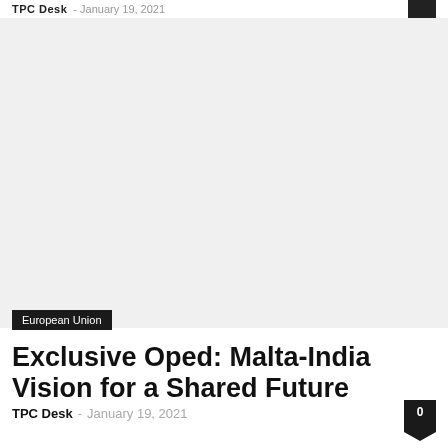TPC Desk - January 19, 2021
[Figure (photo): Large image placeholder area, light gray background]
European Union
Exclusive Oped: Malta-India Vision for a Shared Future
TPC Desk - January 19, 2021